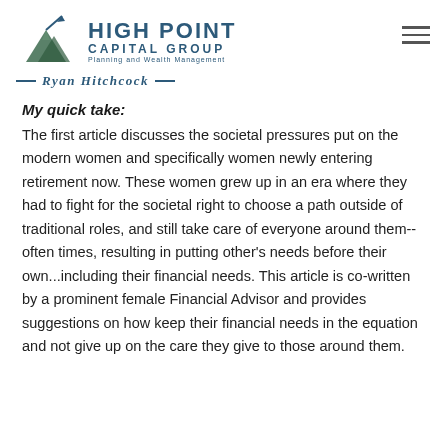HIGH POINT CAPITAL GROUP Planning and Wealth Management Ryan Hitchcock
My quick take:
The first article discusses the societal pressures put on the modern women and specifically women newly entering retirement now.  These women grew up in an era where they had to fight for the societal right to choose a path outside of traditional roles, and still take care of everyone around them-- often times, resulting in putting other's needs before their own...including their financial needs.  This article is co-written by a prominent female Financial Advisor and provides suggestions on how keep their financial needs in the equation and not give up on the care they give to those around them.